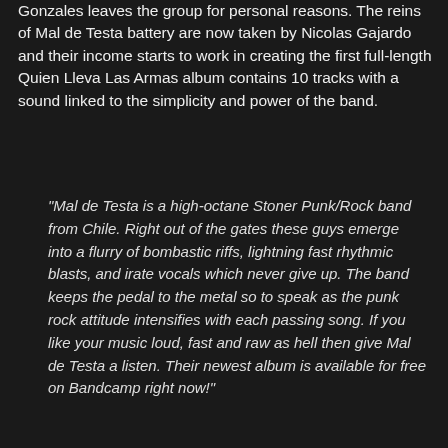Gonzales leaves the group for personal reasons. The reins of Mal de Testa battery are now taken by Nicolas Gajardo and their income starts to work in creating the first full-length Quien Lleva Las Armas album contains 10 tracks with a sound linked to the simplicity and power of the band.
"Mal de Testa is a high-octane Stoner Punk/Rock band from Chile. Right out of the gates these guys emerge into a flurry of bombastic riffs, lightning fast rhythmic blasts, and irate vocals which never give up. The band keeps the pedal to the metal so to speak as the punk rock attitude intensifies with each passing song. If you like your music loud, fast and raw as hell then give Mal de Testa a listen. Their newest album is available for free on Bandcamp right now!"